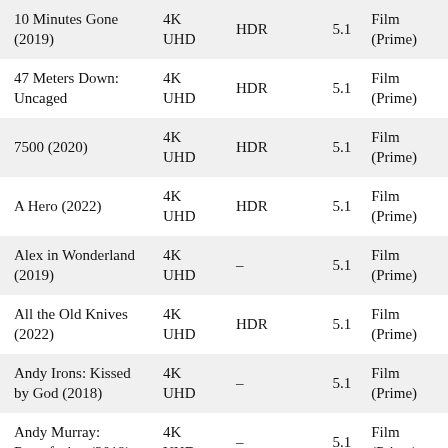| 10 Minutes Gone (2019) | 4K UHD | HDR | 5.1 | Film (Prime) |
| 47 Meters Down: Uncaged | 4K UHD | HDR | 5.1 | Film (Prime) |
| 7500 (2020) | 4K UHD | HDR | 5.1 | Film (Prime) |
| A Hero (2022) | 4K UHD | HDR | 5.1 | Film (Prime) |
| Alex in Wonderland (2019) | 4K UHD | – | 5.1 | Film (Prime) |
| All the Old Knives (2022) | 4K UHD | HDR | 5.1 | Film (Prime) |
| Andy Irons: Kissed by God (2018) | 4K UHD | – | 5.1 | Film (Prime) |
| Andy Murray: Resurfacing (2019) | 4K UHD | – | 5.1 | Film (Prime) |